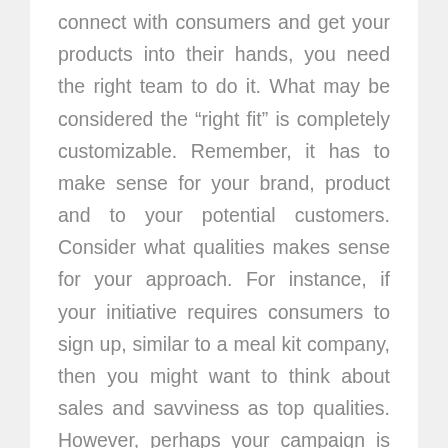connect with consumers and get your products into their hands, you need the right team to do it. What may be considered the “right fit” is completely customizable. Remember, it has to make sense for your brand, product and to your potential customers. Consider what qualities makes sense for your approach. For instance, if your initiative requires consumers to sign up, similar to a meal kit company, then you might want to think about sales and savviness as top qualities. However, perhaps your campaign is more lighthearted, then a more bubbly and approachable personality might suit your team better. Whatever the attributes you’re looking for may be, we recommend those who are personable, yet responsible and come from a variety of backgrounds and experiences.